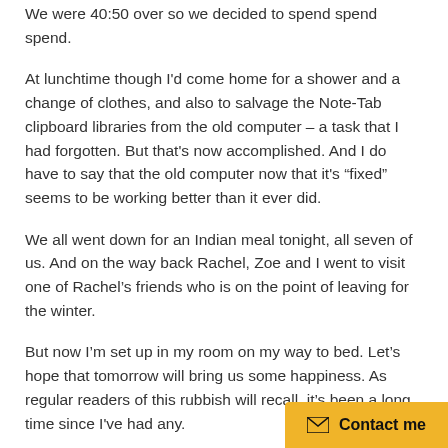We were 40:50 over so we decided to spend spend spend.
At lunchtime though I'd come home for a shower and a change of clothes, and also to salvage the Note-Tab clipboard libraries from the old computer – a task that I had forgotten. But that's now accomplished. And I do have to say that the old computer now that it's “fixed” seems to be working better than it ever did.
We all went down for an Indian meal tonight, all seven of us. And on the way back Rachel, Zoe and I went to visit one of Rachel’s friends who is on the point of leaving for the winter.
But now I’m set up in my room on my way to bed. Let’s hope that tomorrow will bring us some happiness. As regular readers of this rubbish will recall, it’s been a long time since I've had any.